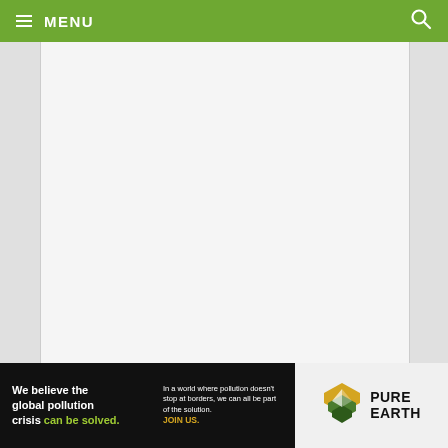MENU
[Figure (screenshot): Large white/light gray empty content area of a webpage]
[Figure (infographic): Pure Earth advertisement banner: 'We believe the global pollution crisis can be solved. In a world where pollution doesn't stop at borders, we can all be part of the solution. JOIN US.' with Pure Earth logo]